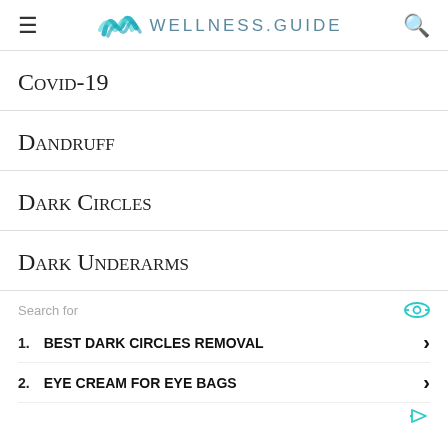WELLNESS.GUIDE
Covid-19
Dandruff
Dark Circles
Dark Underarms
Search for
1. BEST DARK CIRCLES REMOVAL
2. EYE CREAM FOR EYE BAGS